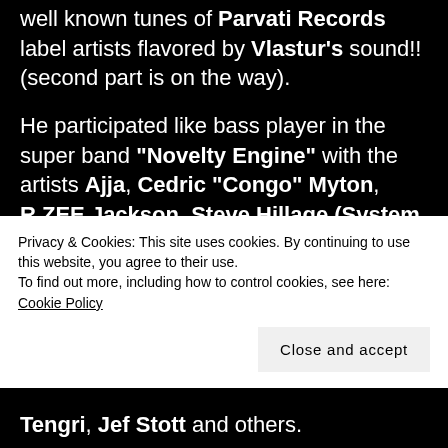well known tunes of Parvati Records label artists flavored by Vlastur's sound!!(second part is on the way).
He participated like bass player in the super band "Novelty Engine" with the artists Ajja, Cedric "Congo" Myton, R.ZEE Jackson, Steve Hillage (System 7), Miquette Giraudy (System 7), Dick Trevor, Ott and Dymons on August of 2015 at OZORA Festival in Hungary.
Privacy & Cookies: This site uses cookies. By continuing to use this website, you agree to their use.
To find out more, including how to control cookies, see here: Cookie Policy
Tengri, Jef Stott and others.